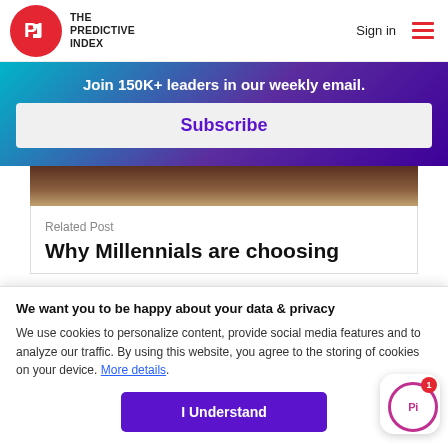THE PREDICTIVE INDEX — Sign in — menu
Join 150K+ leaders in our weekly email.
Subscribe
[Figure (photo): Partial image visible at top of related post card, appears to be people at a table]
Related Post
Why Millennials are choosing
We want you to be happy about your data & privacy
We use cookies to personalize content, provide social media features and to analyze our traffic. By using this website, you agree to the storing of cookies on your device. More details.
I Understand